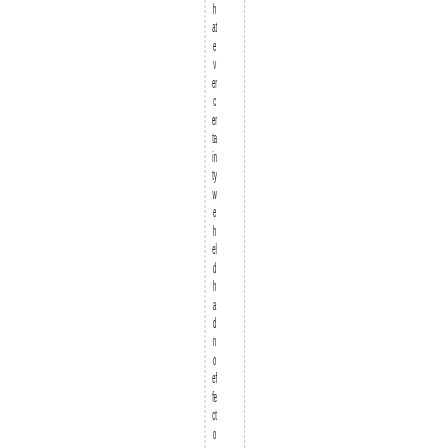h at e v er c er ta in ty w e h el d h a d n o ef fe ct o n a la rg er s